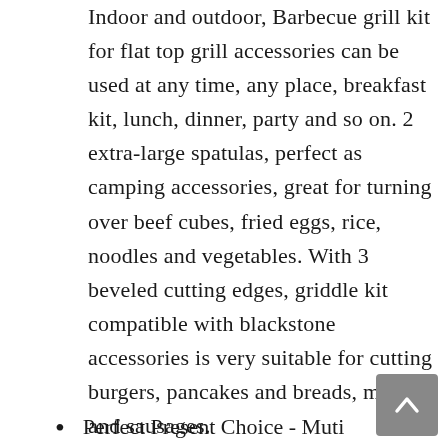Indoor and outdoor, Barbecue grill kit for flat top grill accessories can be used at any time, any place, breakfast kit, lunch, dinner, party and so on. 2 extra-large spatulas, perfect as camping accessories, great for turning over beef cubes, fried eggs, rice, noodles and vegetables. With 3 beveled cutting edges, griddle kit compatible with blackstone accessories is very suitable for cutting burgers, pancakes and breads, meat and sausages.
Perfect Present Choice - Muti...